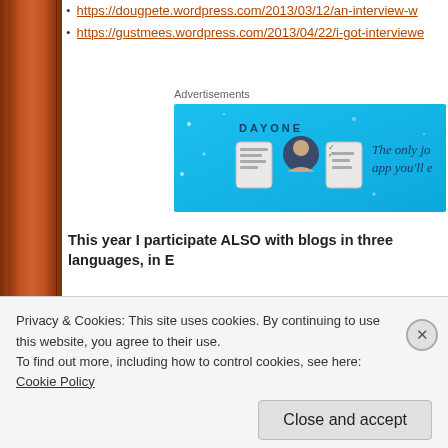https://dougpete.wordpress.com/2013/03/12/an-interview-w...
https://gustmees.wordpress.com/2013/04/22/i-got-interview...
[Figure (screenshot): Day One journal app advertisement banner with blue background, icons of notebook, person, and checklist, text: DAYONE - The only jo... app you'll e...]
This year I participate ALSO with blogs in three languages, in E...
I participate on #SID2020 in Luxembourg/Europe:
Contributions de Gust MEES:  Publications sur le Blog de Gust M...
Privacy & Cookies: This site uses cookies. By continuing to use this website, you agree to their use.
To find out more, including how to control cookies, see here: Cookie Policy
Close and accept